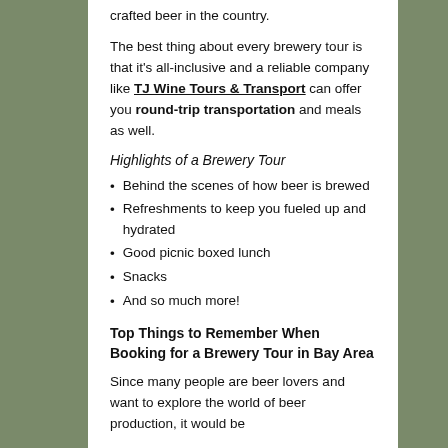crafted beer in the country.
The best thing about every brewery tour is that it's all-inclusive and a reliable company like TJ Wine Tours & Transport can offer you round-trip transportation and meals as well.
Highlights of a Brewery Tour
Behind the scenes of how beer is brewed
Refreshments to keep you fueled up and hydrated
Good picnic boxed lunch
Snacks
And so much more!
Top Things to Remember When Booking for a Brewery Tour in Bay Area
Since many people are beer lovers and want to explore the world of beer production, it would be